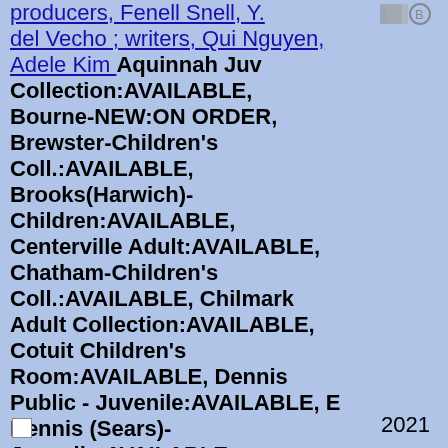producers, Fenell Snell, Y. del Vecho ; writers, Qui Nguyen, Adele Kim Aquinnah Juv Collection:AVAILABLE, Bourne-NEW:ON ORDER, Brewster-Children's Coll.:AVAILABLE, Brooks(Harwich)-Children:AVAILABLE, Centerville Adult:AVAILABLE, Chatham-Children's Coll.:AVAILABLE, Chilmark Adult Collection:AVAILABLE, Cotuit Children's Room:AVAILABLE, Dennis Public - Juvenile:AVAILABLE, E Dennis (Sears)-Juvenile:AVAILABLE, Falmouth-Children's Room:AVAILABLE, Hyannis Children's Room:AVAILABLE, Hyannis Storage:AVAILABLE, Mashpee-Children's Coll.:AVAILABLE, Nantucket-Childrens:AVAILABLE, North Falmouth-Adult
2021